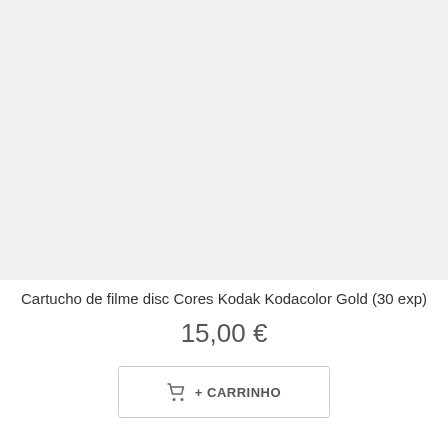[Figure (photo): Product image area — light gray placeholder background for Kodak film disc cartridge product photo]
Cartucho de filme disc Cores Kodak Kodacolor Gold (30 exp)
15,00 €
+ CARRINHO